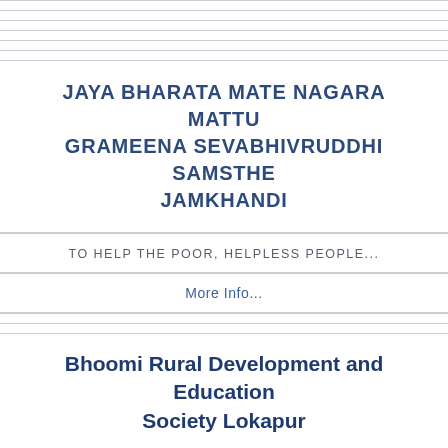JAYA BHARATA MATE NAGARA MATTU GRAMEENA SEVABHIVRUDDHI SAMSTHE JAMKHANDI
TO HELP THE POOR, HELPLESS PEOPLE...
More Info...
Bhoomi Rural Development and Education Society Lokapur
introducing new technical courses in rural area...